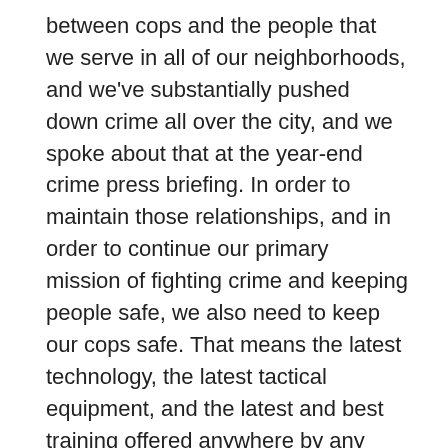between cops and the people that we serve in all of our neighborhoods, and we've substantially pushed down crime all over the city, and we spoke about that at the year-end crime press briefing. In order to maintain those relationships, and in order to continue our primary mission of fighting crime and keeping people safe, we also need to keep our cops safe. That means the latest technology, the latest tactical equipment, and the latest and best training offered anywhere by any police department in the country. So in order to safely and effectively patrol New York City, we need to have the best trained officers around, and I think we do. And in order to have the best trained officers, obviously we need to have the best training facilities.
So, we're going to talk about two things. We're going to talk about Rodman's Neck, and we're going to talk about the show and tell we had outside with the vehicles. The New York City Police Department took over this property, believe it or not, way back in 1960 – even before I was on